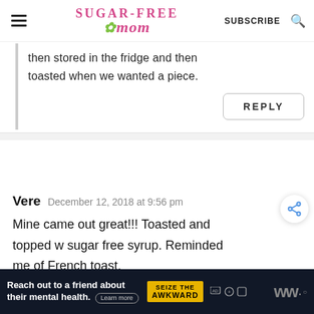SUGAR-FREE mom — SUBSCRIBE
then stored in the fridge and then toasted when we wanted a piece.
REPLY
Vere   December 12, 2018 at 9:56 pm
Mine came out great!!! Toasted and topped w sugar free syrup. Reminded me of French toast.
[Figure (other): Ad banner: Reach out to a friend about their mental health. Learn more. Seize the Awkward badge.]